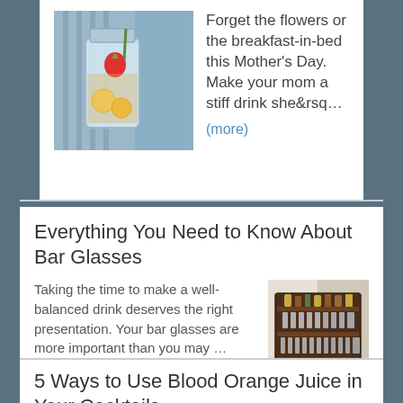[Figure (photo): Photo of a mason jar drink with strawberries, citrus, and garnishes on a striped blue surface]
Forget the flowers or the breakfast-in-bed this Mother's Day. Make your mom a stiff drink she&rsq... (more)
Everything You Need to Know About Bar Glasses
Taking the time to make a well-balanced drink deserves the right presentation. Your bar glasses are more important than you may ... (more)
[Figure (photo): Photo of a bar shelf unit with liquor bottles and glassware]
5 Ways to Use Blood Orange Juice in Your Cocktails
Who doesn't love orange juice? It's perfect paired with